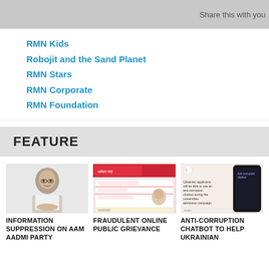Share this with you
RMN Kids
Robojit and the Sand Planet
RMN Stars
RMN Corporate
RMN Foundation
FEATURE
[Figure (photo): Portrait photo of a man in white shirt sitting with hands folded]
[Figure (photo): Screenshot of an online public grievance form with pink/red header]
[Figure (photo): Screenshot showing Ukrainian applicants anti-corruption chatbot for university admission campaign]
INFORMATION SUPPRESSION ON AAM AADMI PARTY
FRAUDULENT ONLINE PUBLIC GRIEVANCE
ANTI-CORRUPTION CHATBOT TO HELP UKRAINIAN